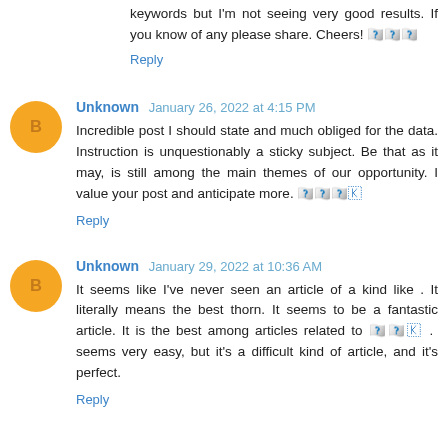keywords but I'm not seeing very good results. If you know of any please share. Cheers! [link]
Reply
Unknown  January 26, 2022 at 4:15 PM
Incredible post I should state and much obliged for the data. Instruction is unquestionably a sticky subject. Be that as it may, is still among the main themes of our opportunity. I value your post and anticipate more. [link]
Reply
Unknown  January 29, 2022 at 10:36 AM
It seems like I've never seen an article of a kind like . It literally means the best thorn. It seems to be a fantastic article. It is the best among articles related to [link] . seems very easy, but it's a difficult kind of article, and it's perfect.
Reply